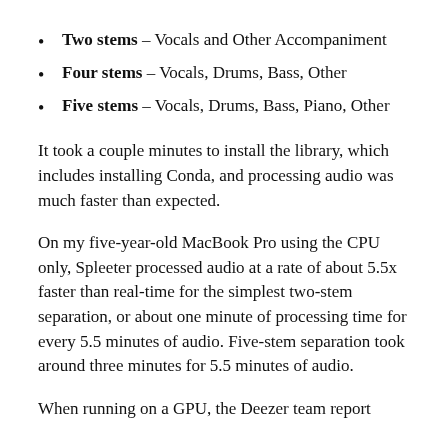Two stems – Vocals and Other Accompaniment
Four stems – Vocals, Drums, Bass, Other
Five stems – Vocals, Drums, Bass, Piano, Other
It took a couple minutes to install the library, which includes installing Conda, and processing audio was much faster than expected.
On my five-year-old MacBook Pro using the CPU only, Spleeter processed audio at a rate of about 5.5x faster than real-time for the simplest two-stem separation, or about one minute of processing time for every 5.5 minutes of audio. Five-stem separation took around three minutes for 5.5 minutes of audio.
When running on a GPU, the Deezer team report